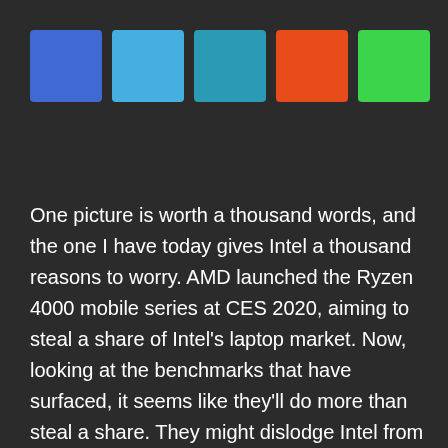[Figure (illustration): Five colored squares in a row: blue, light blue, teal/dark cyan, orange-red, green]
One picture is worth a thousand words, and the one I have today gives Intel a thousand reasons to worry. AMD launched the Ryzen 4000 mobile series at CES 2020, aiming to steal a share of Intel's laptop market. Now, looking at the benchmarks that have surfaced, it seems like they'll do more than steal a share. They might dislodge Intel from the comfy position they have gotten used to over the last decade, with literally zero competition in the mobile market. Have a look: